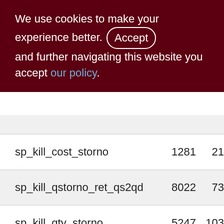We use cookies to make your experience better. By accepting and further navigating this website you accept our policy.
| Name | Col1 | Col2 |
| --- | --- | --- |
| sp_kill_cost_storno | 1281 | 21 |
| sp_kill_qstorno_ret_qs2qd | 8022 | 73 |
| sp_kill_qty_storno | 5247 | 103 |
| sp_lock_selected_doc | 919 | 70 |
| sp_make_cost_storno | 1081 | 108 |